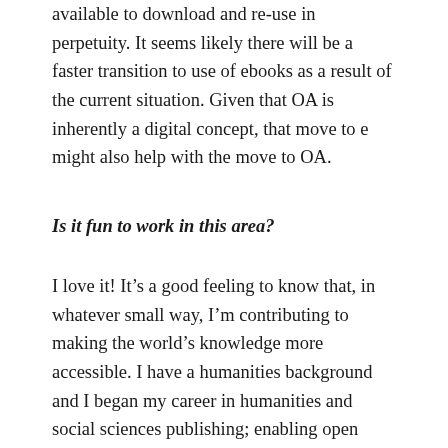available to download and re-use in perpetuity. It seems likely there will be a faster transition to use of ebooks as a result of the current situation. Given that OA is inherently a digital concept, that move to e might also help with the move to OA.
Is it fun to work in this area?
I love it! It’s a good feeling to know that, in whatever small way, I’m contributing to making the world’s knowledge more accessible. I have a humanities background and I began my career in humanities and social sciences publishing; enabling open access for books supports those disciplines most of all, and that’s also important to me. Finally, there is a very special community of people working on open access books and that makes it an even